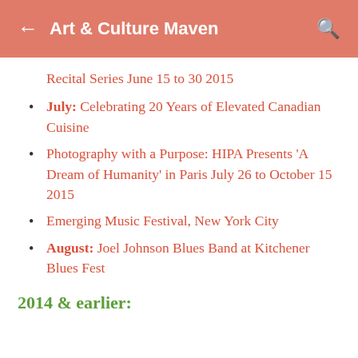Art & Culture Maven
Recital Series June 15 to 30 2015
July: Celebrating 20 Years of Elevated Canadian Cuisine
Photography with a Purpose: HIPA Presents 'A Dream of Humanity' in Paris July 26 to October 15 2015
Emerging Music Festival, New York City
August: Joel Johnson Blues Band at Kitchener Blues Fest
2014 & earlier: